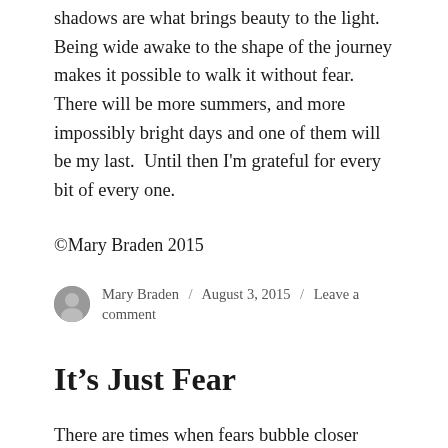shadows are what brings beauty to the light.  Being wide awake to the shape of the journey makes it possible to walk it without fear.  There will be more summers, and more impossibly bright days and one of them will be my last.  Until then I'm grateful for every bit of every one.
©Mary Braden 2015
Mary Braden / August 3, 2015 / Leave a comment
It's Just Fear
There are times when fears bubble closer than usual to the surface, times when imperceptible increases in